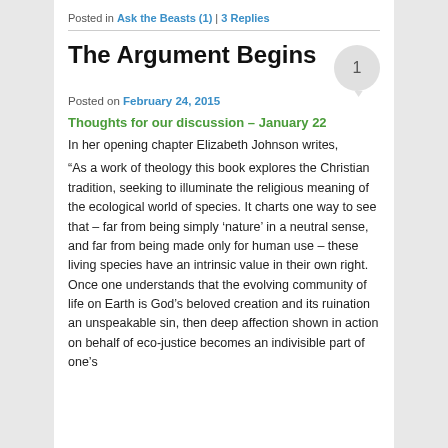Posted in Ask the Beasts (1) | 3 Replies
The Argument Begins
Posted on February 24, 2015
Thoughts for our discussion – January 22
In her opening chapter Elizabeth Johnson writes,
“As a work of theology this book explores the Christian tradition, seeking to illuminate the religious meaning of the ecological world of species. It charts one way to see that – far from being simply ‘nature’ in a neutral sense, and far from being made only for human use – these living species have an intrinsic value in their own right. Once one understands that the evolving community of life on Earth is God’s beloved creation and its ruination an unspeakable sin, then deep affection shown in action on behalf of eco-justice becomes an indivisible part of one’s